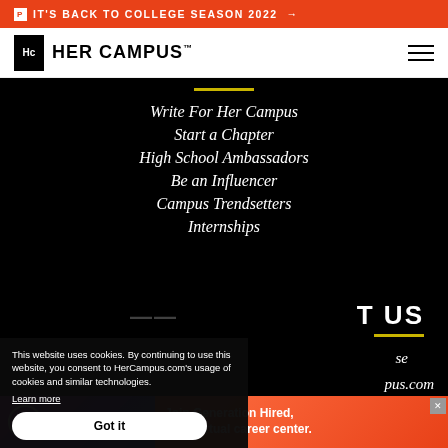🅿 IT'S BACK TO COLLEGE SEASON 2022 →
[Figure (logo): Her Campus logo with Hc icon and wordmark]
Write For Her Campus
Start a Chapter
High School Ambassadors
Be an Influencer
Campus Trendsetters
Internships
CONTACT US
se
pus.com
This website uses cookies. By continuing to use this website, you consent to HerCampus.com's usage of cookies and similar technologies. Learn more
Got it
[Figure (infographic): Generation Hired advertisement banner - Join Generation Hired, your virtual career center.]